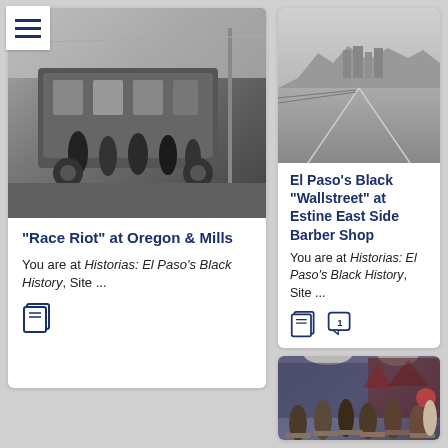[Figure (photo): Hamburger menu icon (three horizontal lines) in white box, top-left corner]
[Figure (photo): Black and white historical photograph of a streetcar/tram with several people standing on it]
“Race Riot” at Oregon & Mills
You are at Historias: El Paso’s Black History, Site ...
[Figure (photo): Black and white aerial/ground-level photo of a road or highway with city skyline in background]
El Paso’s Black “Wallstreet” at Estine East Side Barber Shop
You are at Historias: El Paso’s Black History, Site ...
[Figure (photo): Color photograph of students sitting at desks in a classroom with murals on the wall]